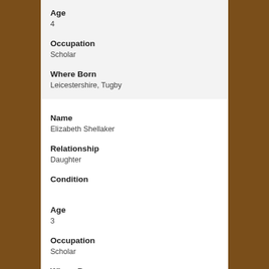Age
4
Occupation
Scholar
Where Born
Leicestershire, Tugby
Name
Elizabeth Shellaker
Relationship
Daughter
Condition
Age
3
Occupation
Scholar
Where Born